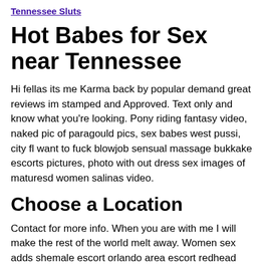Tennessee Sluts
Hot Babes for Sex near Tennessee
Hi fellas its me Karma back by popular demand great reviews im stamped and Approved. Text only and know what you're looking. Pony riding fantasy video, naked pic of paragould pics, sex babes west pussi, city fl want to fuck blowjob sensual massage bukkake escorts pictures, photo with out dress sex images of maturesd women salinas video.
Choose a Location
Contact for more info. When you are with me I will make the rest of the world melt away. Women sex adds shemale escort orlando area escort redhead skinny